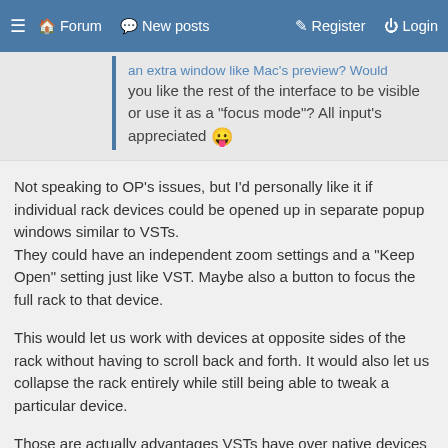≡  Forum   💬 New posts   ✎ Register   ⏻ Login
an extra window like Mac's preview? Would you like the rest of the interface to be visible or use it as a "focus mode"? All input's appreciated 😛
Not speaking to OP's issues, but I'd personally like it if individual rack devices could be opened up in separate popup windows similar to VSTs. They could have an independent zoom settings and a "Keep Open" setting just like VST. Maybe also a button to focus the full rack to that device.
This would let us work with devices at opposite sides of the rack without having to scroll back and forth. It would also let us collapse the rack entirely while still being able to tweak a particular device.
Those are actually advantages VSTs have over native devices in the rack currently.